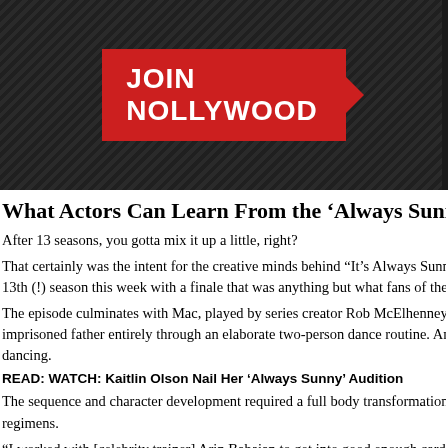[Figure (logo): Dark diagonal striped banner with red 'JOIN NOLLYWOOD' button with arrow]
What Actors Can Learn From the ‘Always Sunny’
After 13 seasons, you gotta mix it up a little, right?
That certainly was the intent for the creative minds behind “It’s Always Sunny i… 13th (!) season this week with a finale that was anything but what fans of the ra…
The episode culminates with Mac, played by series creator Rob McElhenney, (s… imprisoned father entirely through an elaborate two-person dance routine. And y… dancing.
READ: WATCH: Kaitlin Olson Nail Her ‘Always Sunny’ Audition
The sequence and character development required a full body transformation, e… regimens.
“I worked with [celebrity trainer] Arin Babaian to get into good enough cardio s… hours a day and we did a lot of lifting and also a lot of stretching,” McElhenney… person, so I stretched for like an hour a day just to be able to move my body in t… do before and will never be able to do again.” A few months later, he whipped o…